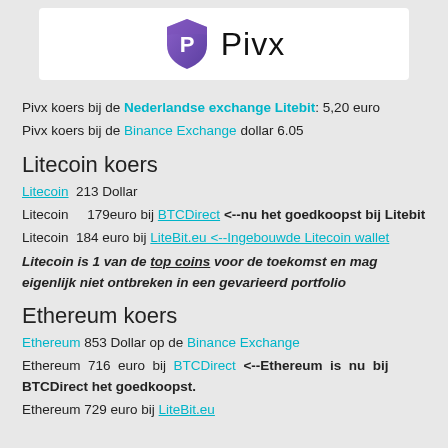[Figure (logo): Pivx logo: purple shield with P icon and text 'Pivx']
Pivx koers bij de Nederlandse exchange Litebit: 5,20 euro
Pivx koers bij de Binance Exchange dollar 6.05
Litecoin koers
Litecoin 213 Dollar
Litecoin 179euro bij BTCDirect <--nu het goedkoopst bij Litebit
Litecoin 184 euro bij LiteBit.eu <--Ingebouwde Litecoin wallet
Litecoin is 1 van de top coins voor de toekomst en mag eigenlijk niet ontbreken in een gevarieerd portfolio
Ethereum koers
Ethereum 853 Dollar op de Binance Exchange
Ethereum 716 euro bij BTCDirect <--Ethereum is nu bij BTCDirect het goedkoopst.
Ethereum 729 euro bij LiteBit.eu